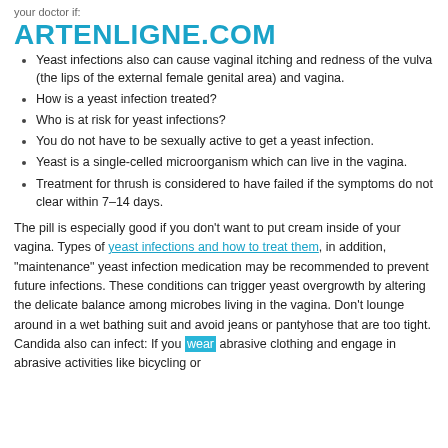your doctor if:
ARTENLIGNE.COM
Yeast infections also can cause vaginal itching and redness of the vulva (the lips of the external female genital area) and vagina.
How is a yeast infection treated?
Who is at risk for yeast infections?
You do not have to be sexually active to get a yeast infection.
Yeast is a single-celled microorganism which can live in the vagina.
Treatment for thrush is considered to have failed if the symptoms do not clear within 7–14 days.
The pill is especially good if you don't want to put cream inside of your vagina. Types of yeast infections and how to treat them, in addition, "maintenance" yeast infection medication may be recommended to prevent future infections. These conditions can trigger yeast overgrowth by altering the delicate balance among microbes living in the vagina. Don't lounge around in a wet bathing suit and avoid jeans or pantyhose that are too tight. Candida also can infect: If you wear abrasive clothing and engage in abrasive activities like bicycling or